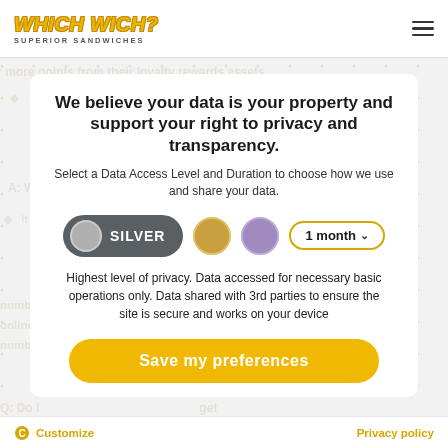Which Wich Superior Sandwiches
We believe your data is your property and support your right to privacy and transparency.
Select a Data Access Level and Duration to choose how we use and share your data.
[Figure (infographic): Privacy level selector row with Silver pill button (active), gold dot, purple dot, and 1 month dropdown]
Highest level of privacy. Data accessed for necessary basic operations only. Data shared with 3rd parties to ensure the site is secure and works on your device
[Figure (infographic): Save my preferences button - yellow rounded pill button]
Customize   Privacy policy